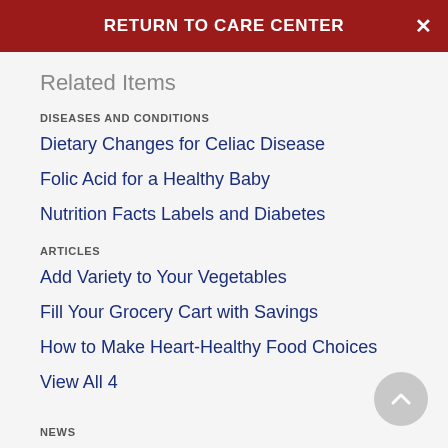RETURN TO CARE CENTER
Related Items
DISEASES AND CONDITIONS
Dietary Changes for Celiac Disease
Folic Acid for a Healthy Baby
Nutrition Facts Labels and Diabetes
ARTICLES
Add Variety to Your Vegetables
Fill Your Grocery Cart with Savings
How to Make Heart-Healthy Food Choices
View All 4
NEWS